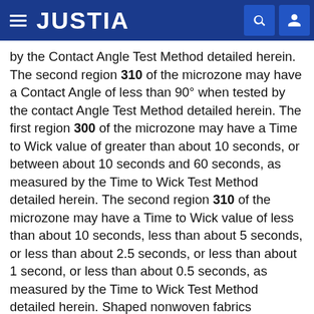JUSTIA
by the Contact Angle Test Method detailed herein. The second region 310 of the microzone may have a Contact Angle of less than 90° when tested by the contact Angle Test Method detailed herein. The first region 300 of the microzone may have a Time to Wick value of greater than about 10 seconds, or between about 10 seconds and 60 seconds, as measured by the Time to Wick Test Method detailed herein. The second region 310 of the microzone may have a Time to Wick value of less than about 10 seconds, less than about 5 seconds, or less than about 2.5 seconds, or less than about 1 second, or less than about 0.5 seconds, as measured by the Time to Wick Test Method detailed herein. Shaped nonwoven fabrics contemplated herein include any of the above detailed parameter ranges for Contact Angle and/or Time to Wick measurements for the first region and/or the second region and/or the other of the other